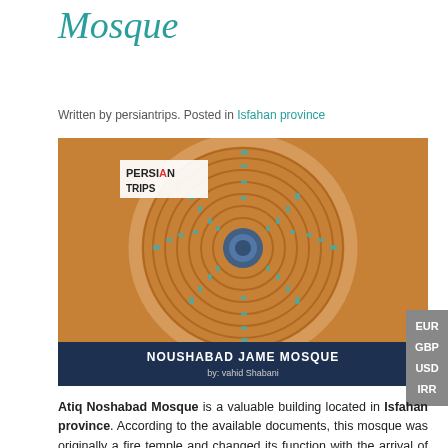Mosque
Written by persiantrips. Posted in Isfahan province
[Figure (photo): Circular brick and tile mosaic dome or ceiling of Noushabad Jame Mosque, with spiral patterns of orange bricks and turquoise tiles radiating from a central blue medallion. Caption reads: NOUSHABAD JAME MOSQUE, by: vahid Shabani]
EUR GBP USD IRR (sidebar currency labels)
Atiq Noshabad Mosque is a valuable building located in Isfahan province. According to the available documents, this mosque was originally a fire temple and changed its function with the arrival of Islam in Iran and became a mosque.